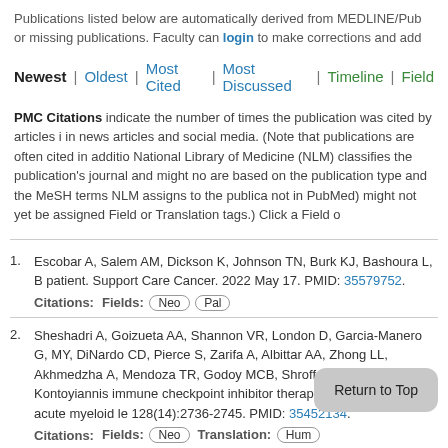Publications listed below are automatically derived from MEDLINE/Pub or missing publications. Faculty can login to make corrections and add
Newest | Oldest | Most Cited | Most Discussed | Timeline | Field
PMC Citations indicate the number of times the publication was cited by articles in news articles and social media. (Note that publications are often cited in addition National Library of Medicine (NLM) classifies the publication's journal and might no are based on the publication type and the MeSH terms NLM assigns to the publia not in PubMed) might not yet be assigned Field or Translation tags.) Click a Field o
1. Escobar A, Salem AM, Dickson K, Johnson TN, Burk KJ, Bashoura L, ... patient. Support Care Cancer. 2022 May 17. PMID: 35579752. Citations: Fields: Neo Pal
2. Sheshadri A, Goizueta AA, Shannon VR, London D, Garcia-Manero G, MY, DiNardo CD, Pierce S, Zarifa A, Albittar AA, Zhong LL, Akhmedzhа A, Mendoza TR, Godoy MCB, Shroff G, Kim ST, Faiz SA, Kontoyiannis immune checkpoint inhibitor therapies in patients with acute myeloid le 128(14):2736-2745. PMID: 35452134. Citations: Fields: Neo Translation: Hum
3. Banala C, Brasher WP, Kanagal Shamanna R, Bashoura L, Faiz SA. ...